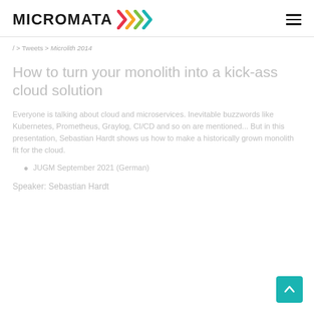MICROMATA >>>
/ > Tweets > Microlith 2014
How to turn your monolith into a kick-ass cloud solution
Everyone is talking about cloud and microservices. Inevitable buzzwords like Kubernetes, Prometheus, Graylog, CI/CD and so on are mentioned... But in this presentation, Sebastian Hardt shows us how to make a historically grown monolith fit for the cloud.
JUGM September 2021 (German)
Speaker: Sebastian Hardt